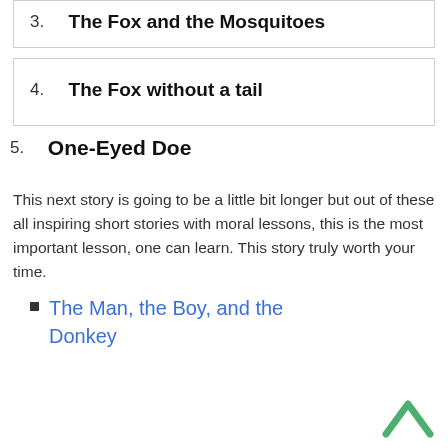3. The Fox and the Mosquitoes
4. The Fox without a tail
5. One-Eyed Doe
This next story is going to be a little bit longer but out of these all inspiring short stories with moral lessons, this is the most important lesson, one can learn. This story truly worth your time.
The Man, the Boy, and the Donkey